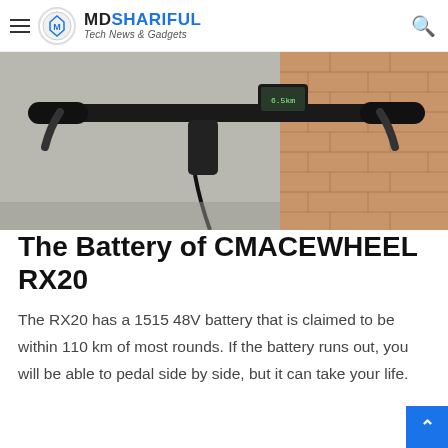MD SHARIFUL Tech News & Gadgets
[Figure (photo): Close-up photo of an electric bicycle handlebar with brake levers, a small display unit, and wiring, against a concrete wall and brick wall background.]
The Battery of CMACEWHEEL RX20
The RX20 has a 1515 48V battery that is claimed to be within 110 km of most rounds. If the battery runs out, you will be able to pedal side by side, but it can take your life.